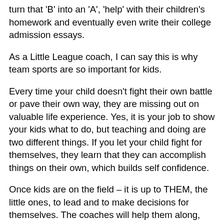turn that 'B' into an 'A', 'help' with their children's homework and eventually even write their college admission essays.
As a Little League coach, I can say this is why team sports are so important for kids.
Every time your child doesn't fight their own battle or pave their own way, they are missing out on valuable life experience. Yes, it is your job to show your kids what to do, but teaching and doing are two different things. If you let your child fight for themselves, they learn that they can accomplish things on their own, which builds self confidence.
Once kids are on the field – it is up to THEM, the little ones, to lead and to make decisions for themselves. The coaches will help them along, but the kids have to accomplish the plays on their own. They may win and they may lose. They may not be the BEST PLAYER EVER. But they will have fun. They will...